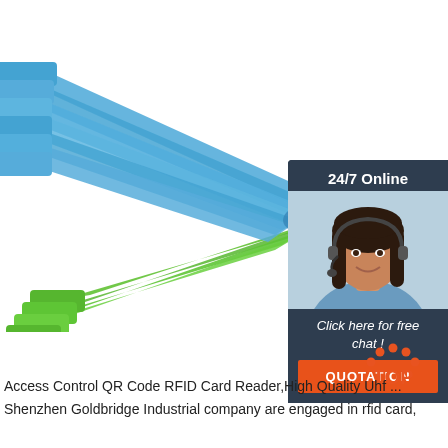[Figure (photo): Bundle of blue and green plastic cable tie tags arranged in a fan shape on white background]
[Figure (infographic): Chat widget showing '24/7 Online', a woman with headset, 'Click here for free chat!' text, and an orange QUOTATION button]
[Figure (logo): TOP logo with orange dots forming an arch above the word TOP in orange and gray]
Access Control QR Code RFID Card Reader,High Quality Uhf ...
Shenzhen Goldbridge Industrial company are engaged in rfid card,